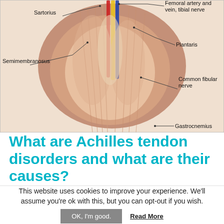[Figure (illustration): Anatomical illustration of the posterior lower leg showing muscles and nerves. Labeled structures include: Sartorius, Semimembranosus, Femoral artery and vein (tibial nerve), Plantaris, Common fibular nerve, Gastrocnemius. Colored vessels (red, blue, yellow) are visible centrally.]
What are Achilles tendon disorders and what are their causes?
This website uses cookies to improve your experience. We'll assume you're ok with this, but you can opt-out if you wish.
OK, I'm good.  Read More